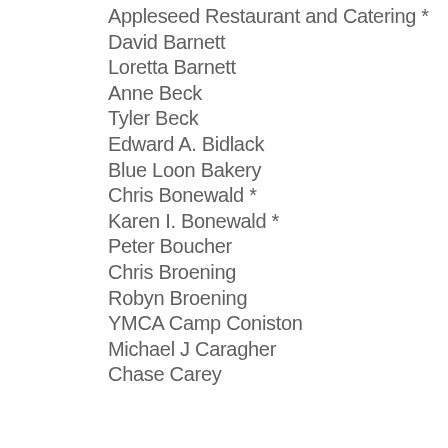Appleseed Restaurant and Catering *
David Barnett
Loretta Barnett
Anne Beck
Tyler Beck
Edward A. Bidlack
Blue Loon Bakery
Chris Bonewald *
Karen I. Bonewald *
Peter Boucher
Chris Broening
Robyn Broening
YMCA Camp Coniston
Michael J Caragher
Chase Carey
Wendy S. Carey